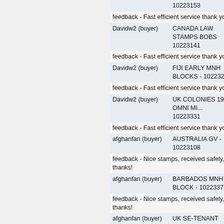| User | Item |
| --- | --- |
|  | 10223153 |
| feedback - Fast efficient service thank you |  |
| Davidw2 (buyer) | CANADA LAW STAMPS BOBS 10223141 |
| feedback - Fast efficient service thank you |  |
| Davidw2 (buyer) | FIJI EARLY MNH BLOCKS - 10223284 |
| feedback - Fast efficient service thank you |  |
| Davidw2 (buyer) | UK COLONIES 1937 OMNI MI... 10223331 |
| feedback - Fast efficient service thank you |  |
| afghanfan (buyer) | AUSTRALIA GV - 10223108 |
| feedback - Nice stamps, received safely, thanks! |  |
| afghanfan (buyer) | BARBADOS MNH BLOCK - 10223379 |
| feedback - Nice stamps, received safely, thanks! |  |
| afghanfan (buyer) | UK SE-TENANT PAIRS MNH - 10223542 |
| feedback - Nice stamps, received safely, thanks! |  |
| Weatherman (buyer) | ZANZIBAR EARLY - 10223422 |
| feedback - An excellent vendor! |  |
| renogajo (buyer) | UK COLONIES OMNI 1953 MI... 10223153 |
| feedback - Items as described. Thank you. |  |
| renogajo (buyer) | AUSTRALIA STATES - 1022312... |
| feedback - Items as described. Thank you. |  |
| sudbury12000 (buyer) | GRENADA - 10223259 |
| feedback - Superb product and excellent delivery!! |  |
| sudbury12000 (buyer) | CHINA VERY OLD - 10221723 |
| feedback - Great Product and service |  |
| ...(buyer) | CANADA BOBS - 10222... |